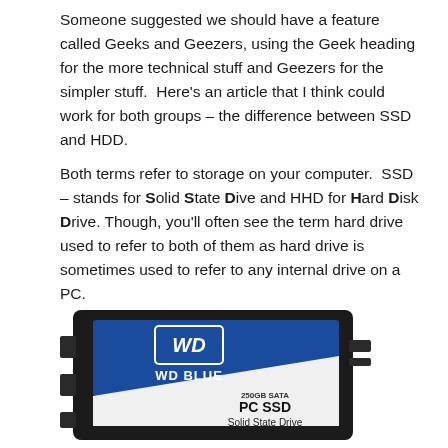Someone suggested we should have a feature called Geeks and Geezers, using the Geek heading for the more technical stuff and Geezers for the simpler stuff.  Here's an article that I think could work for both groups – the difference between SSD and HDD.
Both terms refer to storage on your computer.  SSD – stands for Solid State Dive and HHD for Hard Disk Drive.  Though, you'll often see the term hard drive used to refer to both of them as hard drive is sometimes used to refer to any internal drive on a PC.
[Figure (photo): A WD Blue 250GB SATA PC SSD Solid State Drive product photo, shown at an angle. The drive has a black outer casing with a blue and white label. The label shows the WD logo in a blue square, text 'WD BLUE', '250GB SATA', 'PC SSD', and 'Solid State Drive'.]